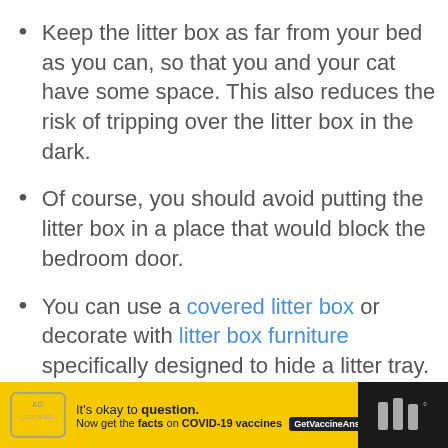Keep the litter box as far from your bed as you can, so that you and your cat have some space. This also reduces the risk of tripping over the litter box in the dark.
Of course, you should avoid putting the litter box in a place that would block the bedroom door.
You can use a covered litter box or decorate with litter box furniture specifically designed to hide a litter tray. You can also repurpose a side table, cabinet or other piece of furniture, or
[Figure (other): Advertisement banner at bottom of page: yellow background with 'It's okay to question. Now get the facts on COVID-19 vaccines. GetVaccineAnswers.org' text, a close button (X), and a dark strip on the right with a weather/news logo.]